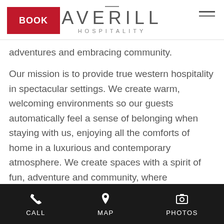BOOK | AVERILL HOSPITALITY | (menu)
adventures and embracing community.
Our mission is to provide true western hospitality in spectacular settings. We create warm, welcoming environments so our guests automatically feel a sense of belonging when staying with us, enjoying all the comforts of home in a luxurious and contemporary atmosphere. We create spaces with a spirit of fun, adventure and community, where connections are forged and souls nourished.
Providing unique, memorable experiences for our guests is the heart of Averill Hospitality. We love what we do and have fun doing it. Our goal is to ensure
CALL   MAP   PHOTOS